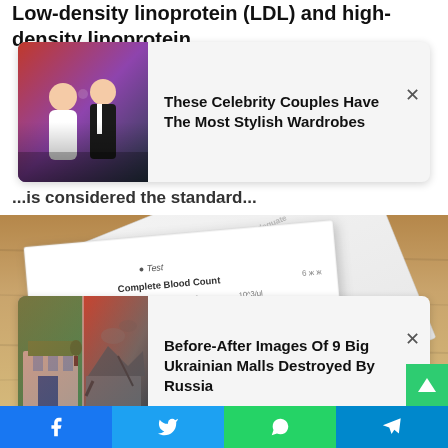Low-density linoprotein (LDL) and high-density linoprotein
[Figure (screenshot): Ad card: couple in wedding attire, man in tuxedo and woman in white dress, with headline 'These Celebrity Couples Have The Most Stylish Wardrobes' and close button]
...is considered the standard... ...cholesterol, with higher values corresponding to a lower risk of cardiovascular disease and stroke. HDL is eliminated from your body through your liver,
[Figure (screenshot): Ad card: before/after images of a shopping mall destroyed, with headline 'Before-After Images Of 9 Big Ukrainian Malls Destroyed By Russia' and close button]
...designed to process fat. Instead, LDL, the 'bad'... ...and can lead to heart...
[Figure (photo): Photo of medical blood test result papers fanned out on a wooden table, showing Complete Blood Count (CBC) results with entries for WBC, RBC, HGB, HCT, MCV, MCH, MCHC and values]
[Figure (infographic): Social media share bar at bottom with Facebook (blue), Twitter (light blue), WhatsApp (green), and Telegram (blue) icons]